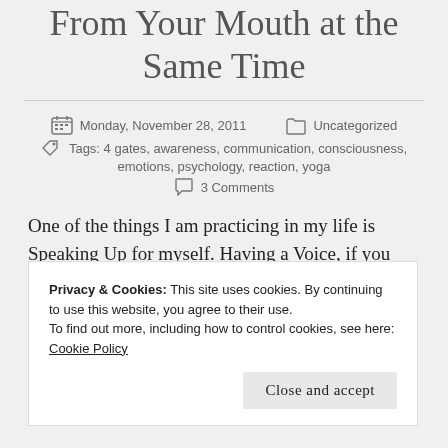From Your Mouth at the Same Time
Monday, November 28, 2011   Uncategorized
Tags: 4 gates, awareness, communication, consciousness, emotions, psychology, reaction, yoga
3 Comments
One of the things I am practicing in my life is Speaking Up for myself. Having a Voice, if you will. My pattern
Privacy & Cookies: This site uses cookies. By continuing to use this website, you agree to their use.
To find out more, including how to control cookies, see here: Cookie Policy
Close and accept